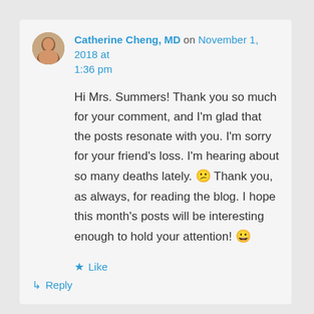Catherine Cheng, MD on November 1, 2018 at 1:36 pm
Hi Mrs. Summers! Thank you so much for your comment, and I'm glad that the posts resonate with you. I'm sorry for your friend's loss. I'm hearing about so many deaths lately. 😕 Thank you, as always, for reading the blog. I hope this month's posts will be interesting enough to hold your attention! 😀
★ Like
↳ Reply